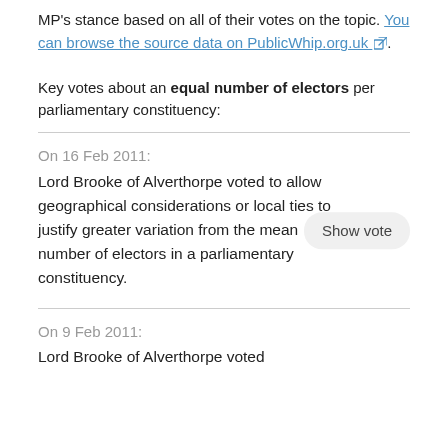MP's stance based on all of their votes on the topic. You can browse the source data on PublicWhip.org.uk.
Key votes about an equal number of electors per parliamentary constituency:
On 16 Feb 2011:
Lord Brooke of Alverthorpe voted to allow geographical considerations or local ties to justify greater variation from the mean number of electors in a parliamentary constituency.
On 9 Feb 2011:
Lord Brooke of Alverthorpe voted